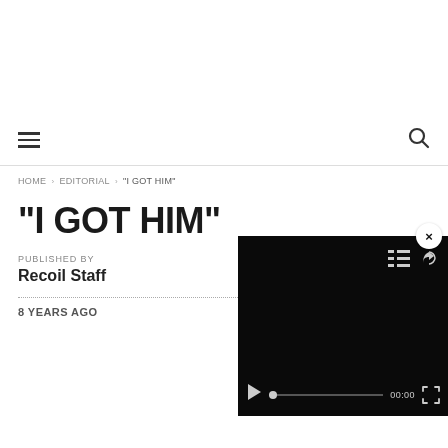Navigation bar with hamburger menu and search icon
HOME › EDITORIAL › "I GOT HIM"
"I GOT HIM"
PUBLISHED BY
Recoil Staff
8 YEARS AGO
[Figure (screenshot): Video player overlay with dark background, close button (×), list and share icons, play button, progress bar with dot at start, time display 00:00, and fullscreen button]